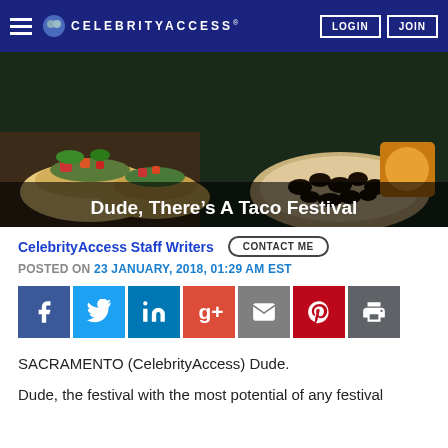CelebrityAccess — Navigation bar with LOGIN and JOIN buttons
[Figure (photo): Food photo showing tacos and black beans on plates, with text overlay 'Dude, There's A Taco Festival']
CelebrityAccess Staff Writers   CONTACT ME
POSTED ON 23 JANUARY, 2018, 01:29 AM EST
[Figure (infographic): Social sharing buttons: Facebook, Twitter, LinkedIn, Google+, Email, Pinterest, Print]
SACRAMENTO (CelebrityAccess) Dude.
Dude, the festival with the most potential of any festival